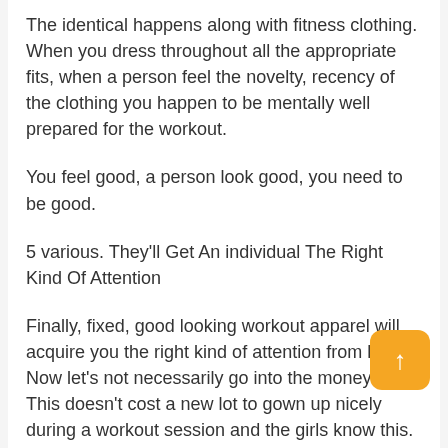The identical happens along with fitness clothing. When you dress throughout all the appropriate fits, when a person feel the novelty, recency of the clothing you happen to be mentally well prepared for the workout.
You feel good, a person look good, you need to be good.
5 various. They'll Get An individual The Right Kind Of Attention
Finally, fixed, good looking workout apparel will acquire you the right kind of attention from ladies. Now let's not necessarily go into the money thi... This doesn't cost a new lot to gown up nicely during a workout session and the girls know this.